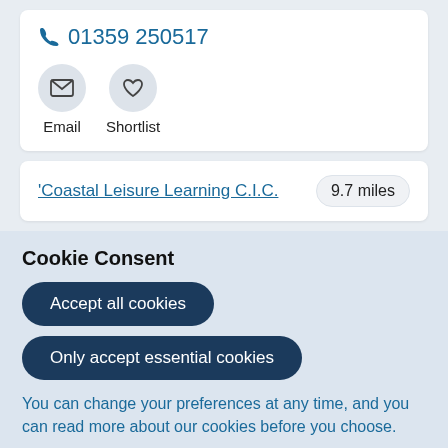01359 250517
Email   Shortlist
'Coastal Leisure Learning C.I.C.    9.7 miles
Cookie Consent
Accept all cookies
Only accept essential cookies
You can change your preferences at any time, and you can read more about our cookies before you choose.
Leave Website